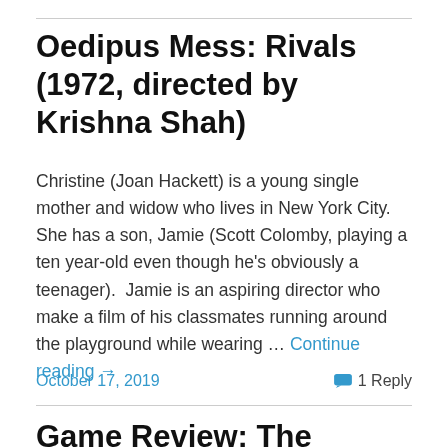Oedipus Mess: Rivals (1972, directed by Krishna Shah)
Christine (Joan Hackett) is a young single mother and widow who lives in New York City.  She has a son, Jamie (Scott Colomby, playing a ten year-old even though he's obviously a teenager).  Jamie is an aspiring director who make a film of his classmates running around the playground while wearing … Continue reading →
October 17, 2019
1 Reply
Game Review: The Witness (1983, Infocom)